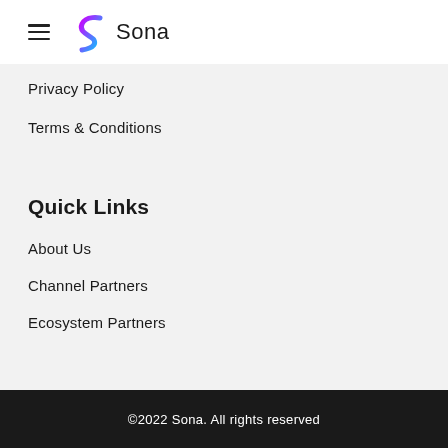[Figure (logo): Sona logo with hamburger menu icon and stylized S icon in purple-to-cyan gradient, followed by 'Sona' text]
Privacy Policy
Terms & Conditions
Quick Links
About Us
Channel Partners
Ecosystem Partners
©2022 Sona. All rights reserved